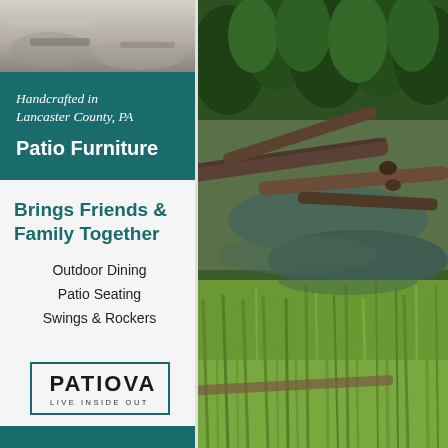[Figure (photo): Top portion of left panel showing a grayscale outdoor/patio scene]
Handcrafted in Lancaster County, PA
Patio Furniture
Brings Friends & Family Together
Outdoor Dining
Patio Seating
Swings & Rockers
[Figure (logo): PATIOVA logo with tagline LIVE INSIDE OUT inside a rectangular border]
[Figure (photo): Nature photograph showing a forest wetland scene with fallen logs, green marsh grass, a stream, and tall evergreen trees in the background]